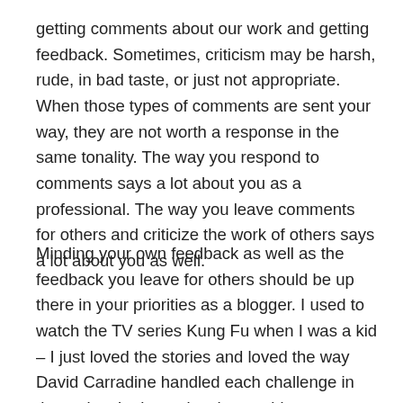getting comments about our work and getting feedback. Sometimes, criticism may be harsh, rude, in bad taste, or just not appropriate.  When those types of comments are sent your way, they are not worth a response in the same tonality.  The way you respond to comments says a lot about you as a professional.  The way you leave comments for others and criticize the work of others says a lot about you as well.
Minding your own feedback as well as the feedback you leave for others should be up there in your priorities as a blogger.  I used to watch the TV series Kung Fu when I was a kid – I just loved the stories and loved the way David Carradine handled each challenge in the series.  In the series, he would say some philosophical lines from time to time.  One of his lines stood with me, until this